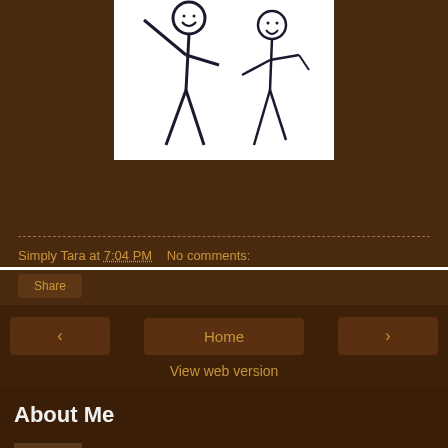[Figure (illustration): Two stick figures: a taller one on the left with arm raised, and a shorter one on the right, both with smiley faces, drawn on white background]
Simply Tara at 7:04 PM    No comments:
Share
‹    Home    ›
View web version
About Me
Simply Tara